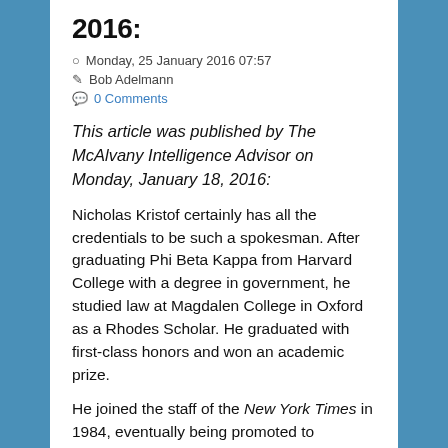2016:
Monday, 25 January 2016 07:57
Bob Adelmann
0 Comments
This article was published by The McAlvany Intelligence Advisor on Monday, January 18, 2016:
Nicholas Kristof certainly has all the credentials to be such a spokesman. After graduating Phi Beta Kappa from Harvard College with a degree in government, he studied law at Magdalen College in Oxford as a Rhodes Scholar. He graduated with first-class honors and won an academic prize.
He joined the staff of the New York Times in 1984, eventually being promoted to associate managing editor responsible for the Sunday edition. He has more Twitter followers than...